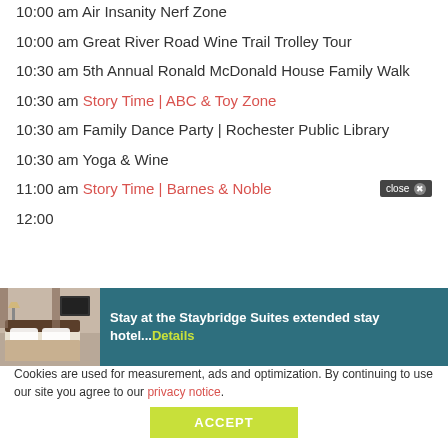10:00 am Air Insanity Nerf Zone
10:00 am Great River Road Wine Trail Trolley Tour
10:30 am 5th Annual Ronald McDonald House Family Walk
10:30 am Story Time | ABC & Toy Zone
10:30 am Family Dance Party | Rochester Public Library
10:30 am Yoga & Wine
11:00 am Story Time | Barnes & Noble
12:00
[Figure (screenshot): Advertisement banner for Staybridge Suites extended stay hotel with hotel room image and green Details link, with close button]
Cookies are used for measurement, ads and optimization. By continuing to use our site you agree to our privacy notice.
ACCEPT